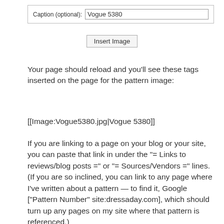[Figure (screenshot): A web form input field labeled 'Caption (optional):' with the value 'Vogue 5380' entered in the text box, and an 'Insert Image' button below it.]
Your page should reload and you'll see these tags inserted on the page for the pattern image:
[[Image:Vogue5380.jpg|Vogue 5380]]
If you are linking to a page on your blog or your site, you can paste that link in under the "= Links to reviews/blog posts =" or "= Sources/Vendors =" lines. (If you are so inclined, you can link to any page where I've written about a pattern — to find it, Google ["Pattern Number" site:dressaday.com], which should turn up any pages on my site where that pattern is referenced.)